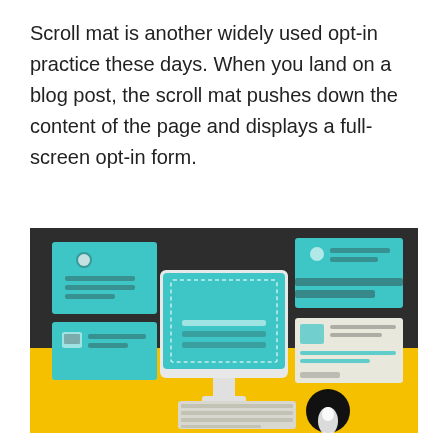Scroll mat is another widely used opt-in practice these days. When you land on a blog post, the scroll mat pushes down the content of the page and displays a full-screen opt-in form.
[Figure (illustration): Illustration of a desktop computer monitor on a yellow and dark background, displaying a teal/cyan screen with a dashed border opt-in form. Surrounding the monitor are teal UI card panels (left side: a contact/form card and an image card; right side: a shopping cart card and a text card). In the foreground are a keyboard and a hand clicking a mouse.]